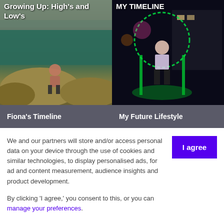[Figure (photo): Two photo thumbnails side by side: left shows a person crouching on rocks by a teal river/water, with text overlay 'Growing Up: High's and Low's'; right shows a person standing at night with green neon lights, with text overlay 'MY TIMELINE']
Growing Up: High's and Low's
MY TIMELINE
Fiona&#39;s Timeline
My Future Lifestyle
We and our partners will store and/or access personal data on your device through the use of cookies and similar technologies, to display personalised ads, for ad and content measurement, audience insights and product development.
By clicking 'I agree,' you consent to this, or you can manage your preferences.